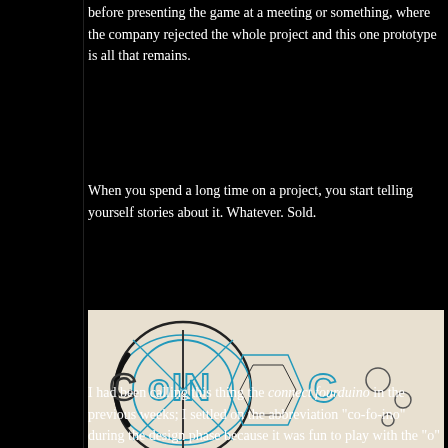before presenting the game at a meeting or something, where the company rejected the whole project and this one prototype is all that remains.
When you spend a long time on a project, you start telling yourself stories about it. Whatever. Sold.
[Figure (photo): Hand-drawn logo sketch on white paper showing stylized text 'COFINO' or similar with circular and geometric design elements in blue/teal ink]
I had been calling this thing the connect fourduino in the previous weeks; I settled on the abbreviation "co-fo-ino" during the design phase because it was fun to play with the "o" shapes, and eventually arrived at the stylizati...